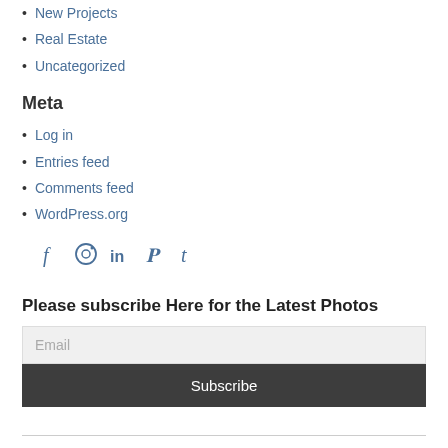New Projects
Real Estate
Uncategorized
Meta
Log in
Entries feed
Comments feed
WordPress.org
[Figure (infographic): Social media icons: Facebook, Instagram, LinkedIn, Pinterest, Tumblr]
Please subscribe Here for the Latest Photos
Email
Subscribe